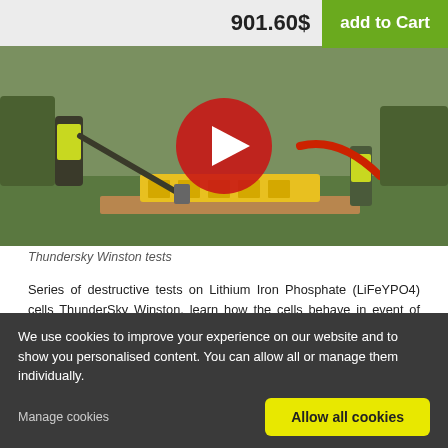901.60$  add to Cart
[Figure (photo): Video thumbnail showing a person in safety vest striking a yellow LiFePO4 battery cell with a fire axe on a wooden platform outdoors, with a red play button overlay]
Thundersky Winston tests
Series of destructive tests on Lithium Iron Phosphate (LiFeYPO4) cells ThunderSky Winston, learn how the cells behave in event of puncture by fire axe or intentional short-circuit with current up to 1600A (400C).
You can see these four tests:
We use cookies to improve your experience on our website and to show you personalised content. You can allow all or manage them individually.
Manage cookies
Allow all cookies